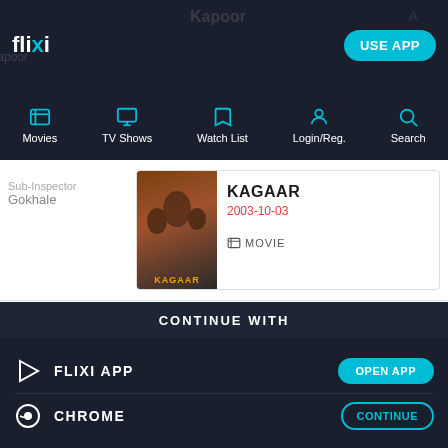flixi | USE APP
Movies | TV Shows | Watch List | Login/Reg. | Search
Sub-Inspector Gokhale
KAGAAR 2003-10-03 MOVIE
Sharma
SECOND GENERATION 2003-09-14 TV SHOW
CONTINUE WITH
FLIXI APP
CHROME